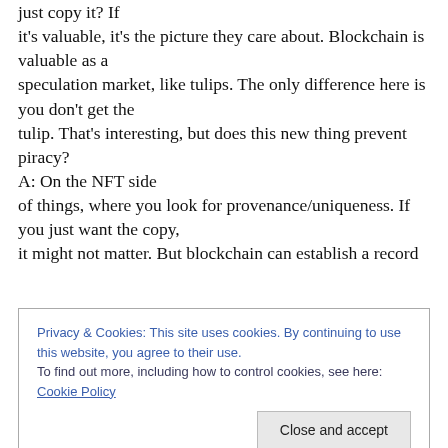just copy it? If it's valuable, it's the picture they care about. Blockchain is valuable as a speculation market, like tulips. The only difference here is you don't get the tulip. That's interesting, but does this new thing prevent piracy? A: On the NFT side of things, where you look for provenance/uniqueness. If you just want the copy, it might not matter. But blockchain can establish a record
Privacy & Cookies: This site uses cookies. By continuing to use this website, you agree to their use.
To find out more, including how to control cookies, see here: Cookie Policy
[Close and accept]
Wh't a digital image you can have anyway, which can be